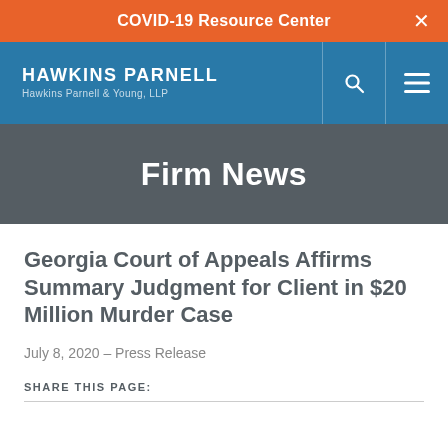COVID-19 Resource Center
[Figure (logo): Hawkins Parnell firm logo with navigation icons (search, menu) on blue background]
Firm News
Georgia Court of Appeals Affirms Summary Judgment for Client in $20 Million Murder Case
July 8, 2020 – Press Release
SHARE THIS PAGE: